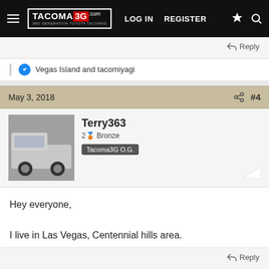TACOMA3G.COM — LOG IN  REGISTER
Reply
Vegas Island and tacomiyagi
May 3, 2018  #4
Terry363
2🥉 Bronze
Tacoma3G O.G.
Hey everyone,

I live in Las Vegas, Centennial hills area.
Reply
Vegas Island, tacomiyagi, cbarcinas671 and 1 other person